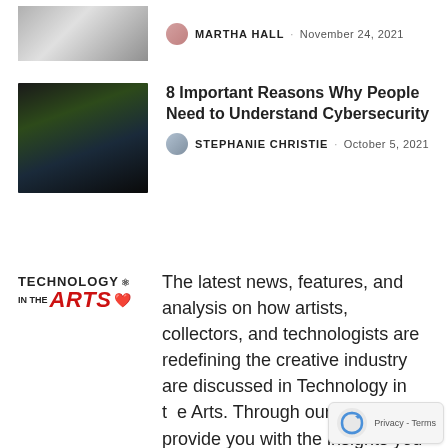[Figure (photo): Black and white photo of a person (top, partially cropped)]
MARTHA HALL · November 24, 2021
[Figure (photo): Dark photo of a computer circuit board / cybersecurity themed image]
8 Important Reasons Why People Need to Understand Cybersecurity
STEPHANIE CHRISTIE · October 5, 2021
[Figure (logo): Technology in the Arts logo with decorative icon]
The latest news, features, and analysis on how artists, collectors, and technologists are redefining the creative industry are discussed in Technology in the Arts. Through our editorial, provide you with the insights you